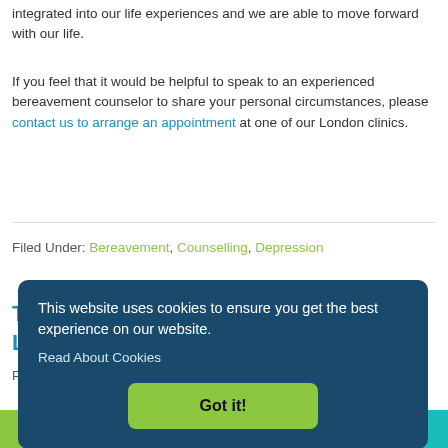integrated into our life experiences and we are able to move forward with our life.
If you feel that it would be helpful to speak to an experienced bereavement counselor to share your personal circumstances, please contact us to arrange an appointment at one of our London clinics.
Filed Under: Bereavement, Counselling, Depression
This website uses cookies to ensure you get the best experience on our website.
Read About Cookies
Got it!